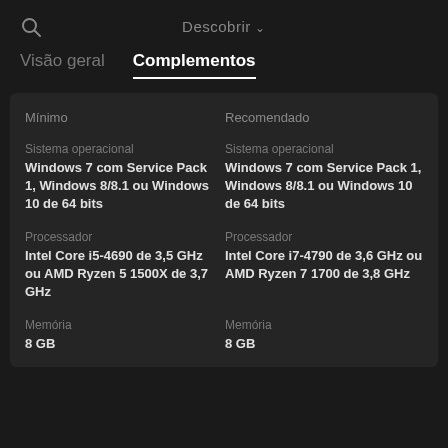Descobrir
Visão geral   Complementos
| Mínimo | Recomendado |
| --- | --- |
| Sistema operacional
Windows 7 com Service Pack 1, Windows 8/8.1 ou Windows 10 de 64 bits | Sistema operacional
Windows 7 com Service Pack 1, Windows 8/8.1 ou Windows 10 de 64 bits |
| Processador
Intel Core i5-4690 de 3,5 GHz ou AMD Ryzen 5 1500X de 3,7 GHz | Processador
Intel Core i7-4790 de 3,6 GHz ou AMD Ryzen 7 1700 de 3,8 GHz |
| Memória
8 GB | Memória
8 GB |